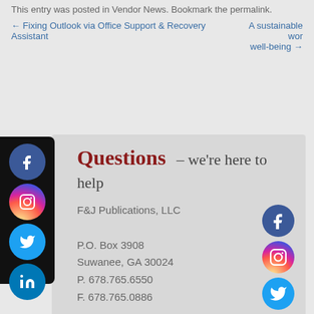This entry was posted in Vendor News. Bookmark the permalink.
← Fixing Outlook via Office Support & Recovery Assistant
A sustainable wor... well-being →
[Figure (infographic): Contact card for F&J Publications LLC with social media icons (Facebook, Instagram, Twitter, LinkedIn). Shows address: P.O. Box 3908, Suwanee, GA 30024, P. 678.765.6550, F. 678.765.0886]
Questions – we're here to help
F&J Publications, LLC
P.O. Box 3908
Suwanee, GA 30024
P. 678.765.6550
F. 678.765.0886